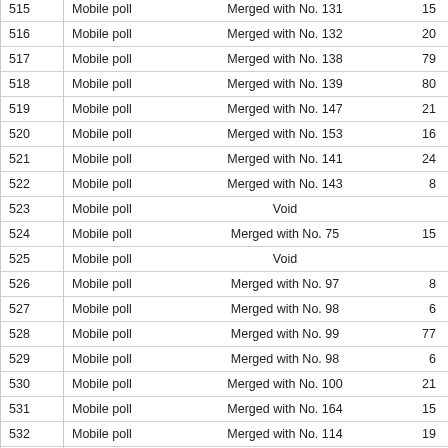| No. | Type | Status | Count |
| --- | --- | --- | --- |
| 515 | Mobile poll | Merged with No. 131 | 15 |
| 516 | Mobile poll | Merged with No. 132 | 20 |
| 517 | Mobile poll | Merged with No. 138 | 79 |
| 518 | Mobile poll | Merged with No. 139 | 80 |
| 519 | Mobile poll | Merged with No. 147 | 21 |
| 520 | Mobile poll | Merged with No. 153 | 16 |
| 521 | Mobile poll | Merged with No. 141 | 24 |
| 522 | Mobile poll | Merged with No. 143 | 8 |
| 523 | Mobile poll | Void |  |
| 524 | Mobile poll | Merged with No. 75 | 15 |
| 525 | Mobile poll | Void |  |
| 526 | Mobile poll | Merged with No. 97 | 8 |
| 527 | Mobile poll | Merged with No. 98 | 6 |
| 528 | Mobile poll | Merged with No. 99 | 77 |
| 529 | Mobile poll | Merged with No. 98 | 6 |
| 530 | Mobile poll | Merged with No. 100 | 21 |
| 531 | Mobile poll | Merged with No. 164 | 15 |
| 532 | Mobile poll | Merged with No. 114 | 19 |
| 533 | Mobile poll | Merged with No. 115 | 42 |
| 534 | Mobile poll | Merged with No. 116 | 61 |